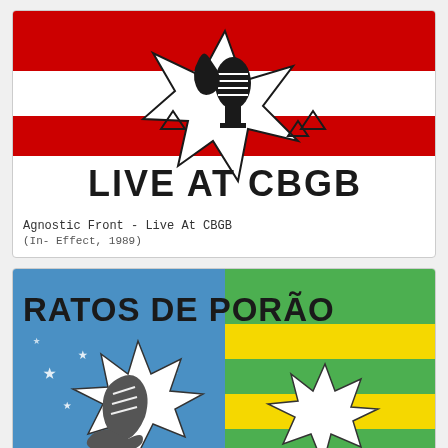[Figure (illustration): Album cover for Agnostic Front - Live At CBGB. Red and white stripes background with a white starburst shape containing a microphone and boot graphic. Bold black text reads LIVE AT CBGB at bottom of image.]
Agnostic Front - Live At CBGB
(In- Effect, 1989)
[Figure (illustration): Album cover for Ratos De Porão. Split background of blue with white stars (left) and yellow/green stripes (right) resembling the Brazilian flag motif. Bold black stencil text reads RATOS DE PORÃO across the top. White starburst shapes with a boot/shoe graphic in the lower portion.]